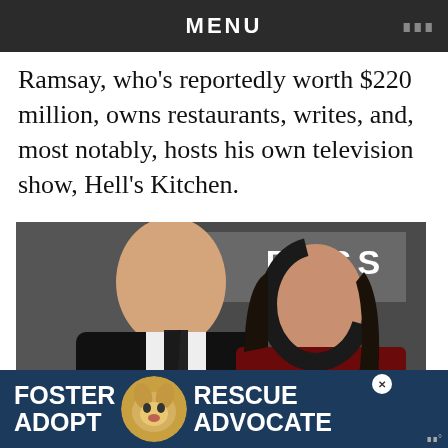MENU
Ramsay, who's reportedly worth $220 million, owns restaurants, writes, and, most notably, hosts his own television show, Hell's Kitchen.
[Figure (photo): Photo of Gordon Ramsay and a woman posing in front of a BOSS Hugo Boss backdrop with a GQ logo. Heart and share buttons visible on the right side. A 'What's Next' panel shows a thumbnail and text 'Why Giada De Laurentiis a...']
[Figure (infographic): Advertisement banner reading 'FOSTER ADOPT' on the left, a dog image in the center, and 'RESCUE ADVOCATE' on the right, on a dark navy background.]